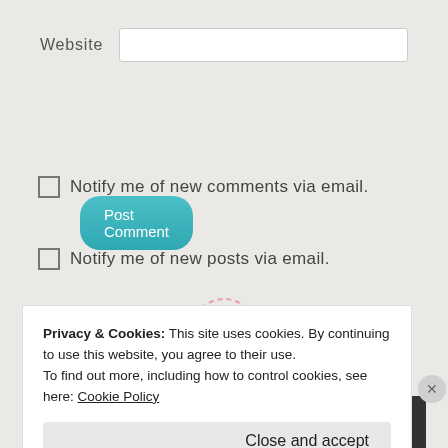Website
Post Comment
Notify me of new comments via email.
Notify me of new posts via email.
[Figure (logo): Pinterest dashed circle icon in pink/red]
Privacy & Cookies: This site uses cookies. By continuing to use this website, you agree to their use.
To find out more, including how to control cookies, see here: Cookie Policy
Close and accept
[Figure (screenshot): Ad banner: All in One Free App on orange background, DuckDuckGo on dark background]